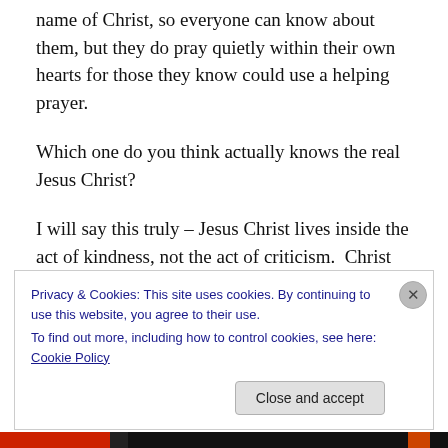name of Christ, so everyone can know about them, but they do pray quietly within their own hearts for those they know could use a helping prayer.
Which one do you think actually knows the real Jesus Christ?
I will say this truly – Jesus Christ lives inside the act of kindness, not the act of criticism.  Christ lives inside the act of compassion and understanding towards another and not speeches of judging others.  If we find kindness, understanding and compassion in people, it will be these
Privacy & Cookies: This site uses cookies. By continuing to use this website, you agree to their use.
To find out more, including how to control cookies, see here: Cookie Policy